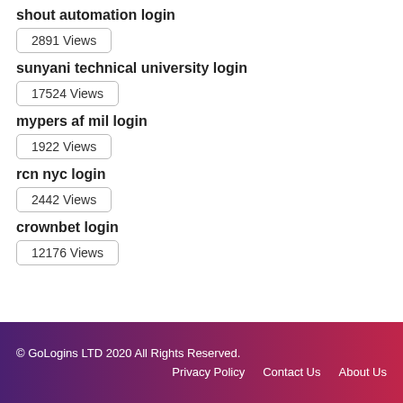shout automation login
2891 Views
sunyani technical university login
17524 Views
mypers af mil login
1922 Views
rcn nyc login
2442 Views
crownbet login
12176 Views
© GoLogins LTD 2020 All Rights Reserved.
Privacy Policy   Contact Us   About Us